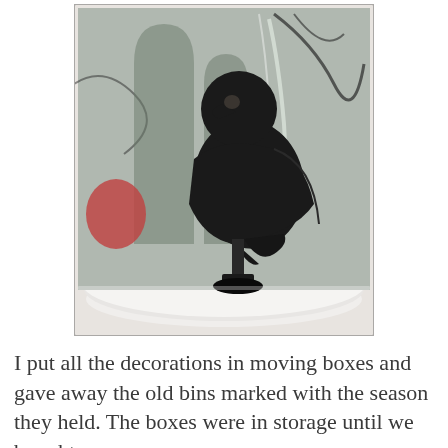[Figure (photo): A taxidermied black crow or raven displayed under a glass dome cloche on a white base/plate. The bird is mounted on a black stand. Background shows reflected branches and possibly other decorative items.]
I put all the decorations in moving boxes and gave away the old bins marked with the season they held. The boxes were in storage until we bought a